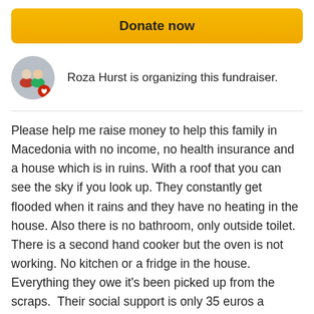Donate now
Roza Hurst is organizing this fundraiser.
Please help me raise money to help this family in Macedonia with no income, no health insurance and a house which is in ruins. With a roof that you can see the sky if you look up. They constantly get flooded when it rains and they have no heating in the house. Also there is no bathroom, only outside toilet. There is a second hand cooker but the oven is not working. No kitchen or a fridge in the house. Everything they owe it's been picked up from the scraps.  Their social support is only 35 euros a month.  The only food they eat is the food picked up from
Read more